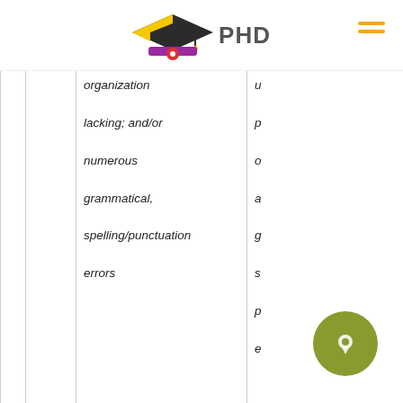PHD
|  |  | organization lacking; and/or numerous grammatical, spelling/punctuation errors | ...p...o...a...g...s...p...e... |
| --- | --- | --- | --- |
|  |  | organization lacking; and/or numerous grammatical, spelling/punctuation errors | ... |
|  |  |  | 5 1 o d... |